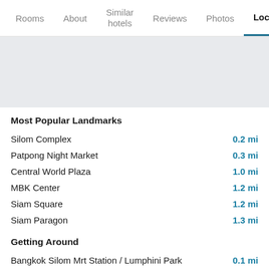Rooms | About | Similar hotels | Reviews | Photos | Loca(tion)
[Figure (map): Map placeholder showing hotel location area, light grey background]
Most Popular Landmarks
Silom Complex — 0.2 mi
Patpong Night Market — 0.3 mi
Central World Plaza — 1.0 mi
MBK Center — 1.2 mi
Siam Square — 1.2 mi
Siam Paragon — 1.3 mi
Getting Around
Bangkok Silom Mrt Station / Lumphini Park — 0.1 mi